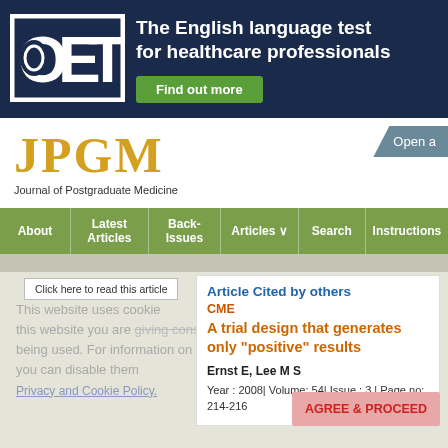[Figure (logo): OET banner with logo and tagline 'The English language test for healthcare professionals' with Find out more button]
JPGM — Journal of Postgraduate Medicine
Open a
About | Latest Articles | Back-Issues | Articles | Search | Instructions
Click here to read this article
This website uses cookies. By continuing to use this website you are giving consent to cookies being used. For information on cookies and how you can disable them Privacy and Cookie Policy.
Article Cited by others
CME
A trial design that generates only "positive" results
Ernst E, Lee M S
Year : 2008| Volume: 54| Issue : 3 | Page no: 214-216
AGREE & PROCEED